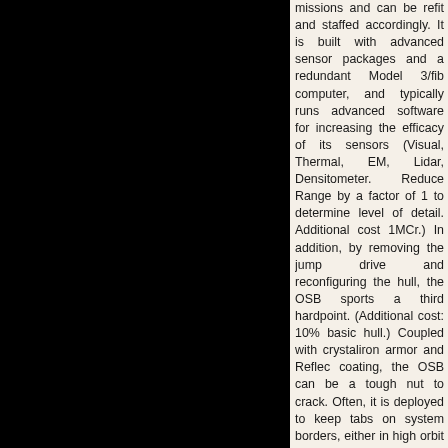[Figure (illustration): Large black panel occupying the left portion of the page, likely a ship or equipment illustration cropped at this page boundary.]
missions and can be refit and staffed accordingly. It is built with advanced sensor packages and a redundant Model 3/fib computer, and typically runs advanced software for increasing the efficacy of its sensors (Visual, Thermal, EM, Lidar, Densitometer. Reduce Range by a factor of 1 to determine level of detail. Additional cost 1MCr.) In addition, by removing the jump drive and reconfiguring the hull, the OSB sports a third hardpoint. (Additional cost: 10% basic hull.) Coupled with crystaliron armor and Reflec coating, the OSB can be a tough nut to crack. Often, it is deployed to keep tabs on system borders, either in high orbit around a world or near a jump point to watch for ships arriving and leaving the system. The OSB is also useful in planetary defense, where it can serve as a command center, logistics station, or communications hub. Some governments deploy the OSB in lower orbits and use them as surveillance and